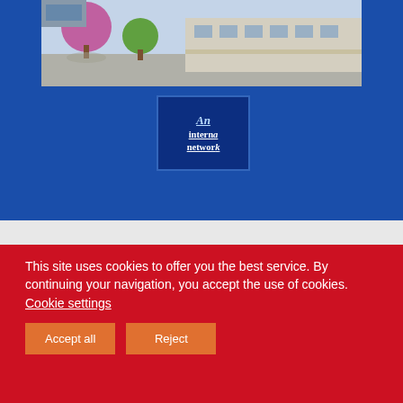[Figure (photo): Exterior photo of a school building with trees and parking area, partially visible at top of page]
[Figure (logo): Alliance Française logo showing 'An international network' text on dark blue background]
Alliance Française de Lyon
This site uses cookies to offer you the best service. By continuing your navigation, you accept the use of cookies. Cookie settings
Accept all
Reject